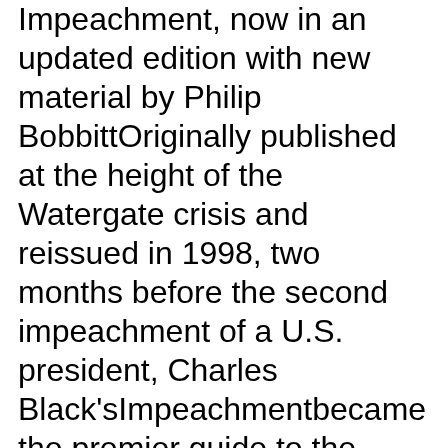Impeachment, now in an updated edition with new material by Philip BobbittOriginally published at the height of the Watergate crisis and reissued in 1998, two months before the second impeachment of a U.S. president, Charles Black'sImpeachmentbecame the premier guide to the subject of presidential impeachment. Impeachment: A Handbook, New Edition [Charles L. Jr. Black, Philip Bobbitt] on Amazon.com. *FREE* shipping on qualifying offers. Originally published at the height of the Watergate crisis, Charles BlackвЂ™s classic Impeachment: A Handbook has long been the premier guide to the subject of